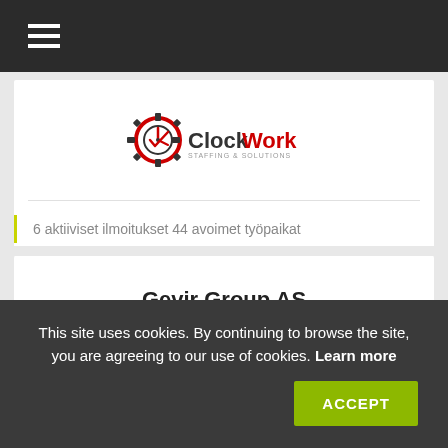Navigation menu (hamburger icon)
[Figure (logo): ClockWork logo with gear/clock icon in red and black text reading 'ClockWork']
6 aktiiviset ilmoitukset 44 avoimet työpaikat
Gevir Group AS
10 aktiiviset ilmoitukset 22 avoimet työpaikat
This site uses cookies. By continuing to browse the site, you are agreeing to our use of cookies. Learn more